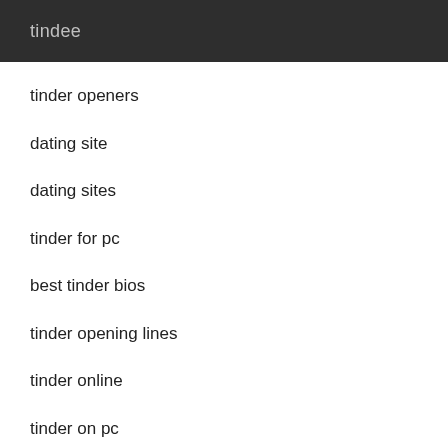tindee
tinder openers
dating site
dating sites
tinder for pc
best tinder bios
tinder opening lines
tinder online
tinder on pc
tinder desktop
what to say on tinder
dating website